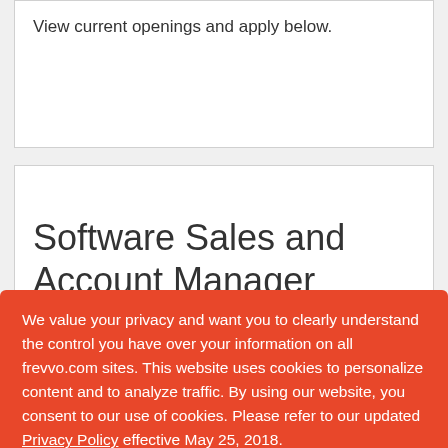View current openings and apply below.
Software Sales and Account Manager
We value your privacy and want you to clearly understand the control you have over your information on all frevvo.com sites. This website uses cookies to personalize content and to analyze traffic. By using our website, you consent to our use of cookies. Please refer to our updated Privacy Policy effective May 25, 2018.
Accept and Dismiss